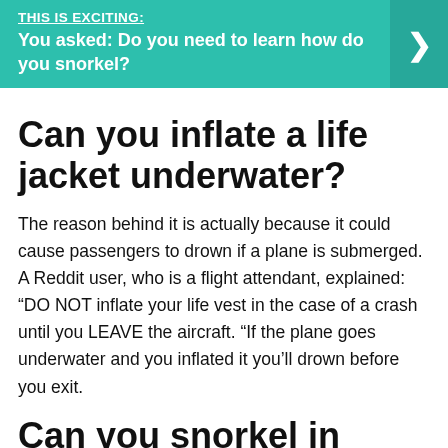[Figure (infographic): Teal/green banner with bold white text reading 'THIS IS EXCITING: You asked: Do you need to learn how do you snorkel?' and a right-arrow chevron on a darker teal background on the right side.]
Can you inflate a life jacket underwater?
The reason behind it is actually because it could cause passengers to drown if a plane is submerged. A Reddit user, who is a flight attendant, explained: “DO NOT inflate your life vest in the case of a crash until you LEAVE the aircraft. “If the plane goes underwater and you inflated it you’ll drown before you exit.
Can you snorkel in Maui if you can’t swim?